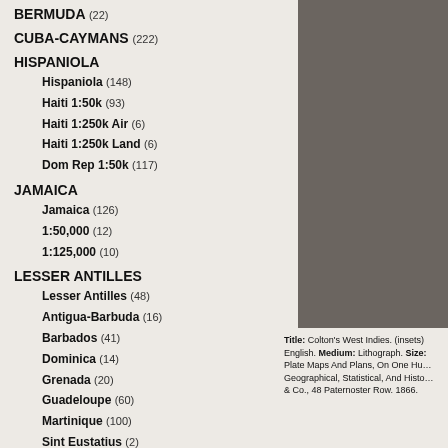BERMUDA (22)
CUBA-CAYMANS (222)
HISPANIOLA
Hispaniola (148)
Haiti 1:50k (93)
Haiti 1:250k Air (6)
Haiti 1:250k Land (6)
Dom Rep 1:50k (117)
JAMAICA
Jamaica (126)
1:50,000 (12)
1:125,000 (10)
LESSER ANTILLES
Lesser Antilles (48)
Antigua-Barbuda (16)
Barbados (41)
Dominica (14)
Grenada (20)
Guadeloupe (60)
Martinique (100)
Sint Eustatius (2)
Sombrero (1)
St. Kitts-Nevis (22)
St. Lucia (12)
Title: Colton's West Indies. (insets) English. Medium: Lithograph. Size: Plate Maps And Plans, On One Hundred Geographical, Statistical, And Historical... & Co., 48 Paternoster Row. 1866.